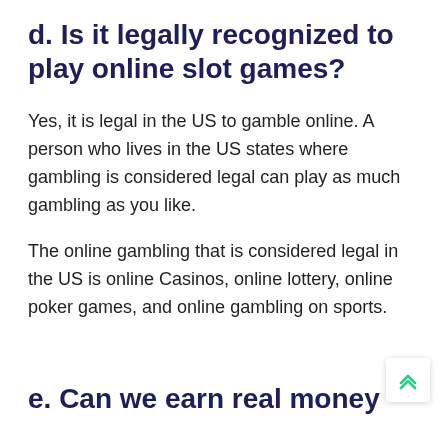d. Is it legally recognized to play online slot games?
Yes, it is legal in the US to gamble online. A person who lives in the US states where gambling is considered legal can play as much gambling as you like.
The online gambling that is considered legal in the US is online Casinos, online lottery, online poker games, and online gambling on sports.
e. Can we earn real money